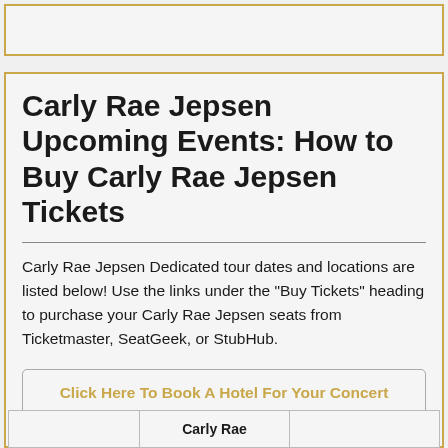Carly Rae Jepsen Upcoming Events: How to Buy Carly Rae Jepsen Tickets
Carly Rae Jepsen Dedicated tour dates and locations are listed below! Use the links under the "Buy Tickets" heading to purchase your Carly Rae Jepsen seats from Ticketmaster, SeatGeek, or StubHub.
Click Here To Book A Hotel For Your Concert
|  | Carly Rae |  |
| --- | --- | --- |